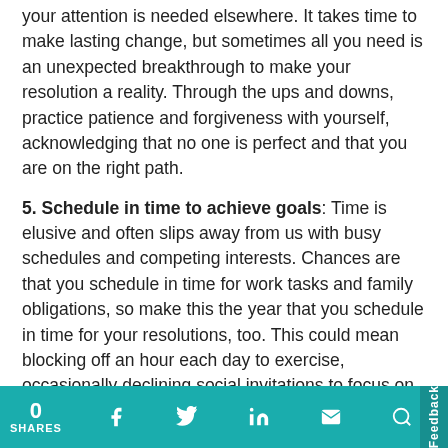your attention is needed elsewhere. It takes time to make lasting change, but sometimes all you need is an unexpected breakthrough to make your resolution a reality. Through the ups and downs, practice patience and forgiveness with yourself, acknowledging that no one is perfect and that you are on the right path.
5. Schedule in time to achieve goals: Time is elusive and often slips away from us with busy schedules and competing interests. Chances are that you schedule in time for work tasks and family obligations, so make this the year that you schedule in time for your resolutions, too. This could mean blocking off an hour each day to exercise, occasionally declining social invitations to focus on self-care, or dedicating a Saturday morning each week to searching for a job.
6. Embrace the buddy system: One of the biggest mistakes people make when setting New Year's resolutions is trying to achieve them alone. Having a buddy alongside you who has similar goals or simply wants to support you can make a huge difference in
0 SHARES  [social icons: Facebook, Twitter, LinkedIn, Email, Search]  Feedback